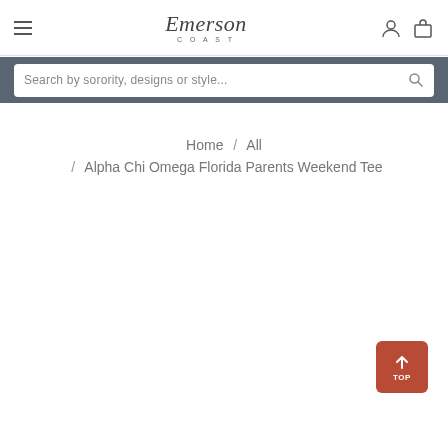Emerson Coast — navigation header with hamburger menu, logo, user and cart icons
Search by sorority, designs or style...
Home / All / Alpha Chi Omega Florida Parents Weekend Tee
[Figure (other): Back to top button with upward arrow and 'TOP' label, rust/red background]